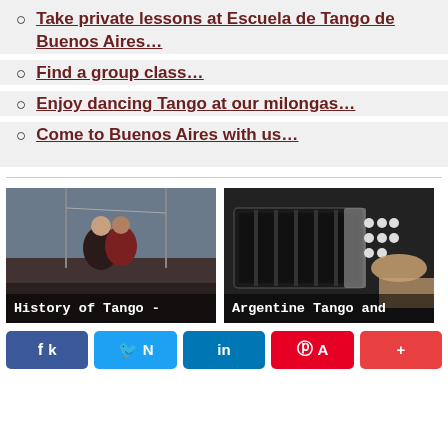Take private lessons at Escuela de Tango de Buenos Aires…
Find a group class…
Enjoy dancing Tango at our milongas…
Come to Buenos Aires with us…
[Figure (photo): A couple dancing tango outdoors, woman in black dress and man in red jacket, with text overlay 'History of Tango -']
[Figure (photo): Close-up of a bandoneon (accordion-like instrument) being played, with text overlay 'Argentine Tango and']
Share buttons: Facebook, Twitter, LinkedIn, Pinterest, More